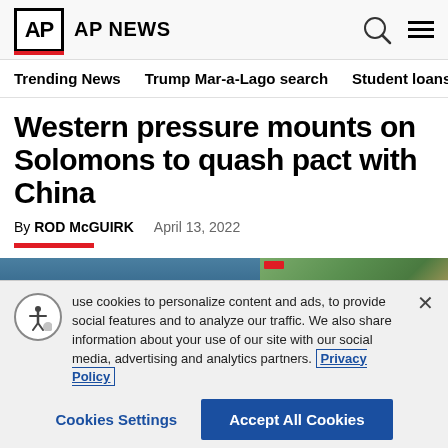AP NEWS
Trending News   Trump Mar-a-Lago search   Student loans   U.S.
Western pressure mounts on Solomons to quash pact with China
By ROD McGUIRK   April 13, 2022
[Figure (photo): Two news images side by side - left is blue toned, right shows outdoor scene]
use cookies to personalize content and ads, to provide social features and to analyze our traffic. We also share information about your use of our site with our social media, advertising and analytics partners. Privacy Policy
Cookies Settings   Accept All Cookies